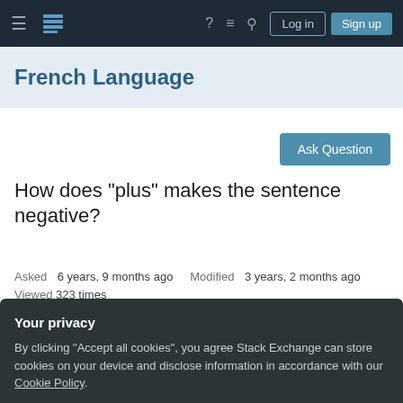≡  [Stack Exchange Logo]  ?  ≡  🔍  Log in  Sign up
French Language
Ask Question
How does "plus" makes the sentence negative?
Asked 6 years, 9 months ago   Modified 3 years, 2 months ago
Viewed 323 times
Your privacy
By clicking "Accept all cookies", you agree Stack Exchange can store cookies on your device and disclose information in accordance with our Cookie Policy.
Accept all cookies   Customize settings